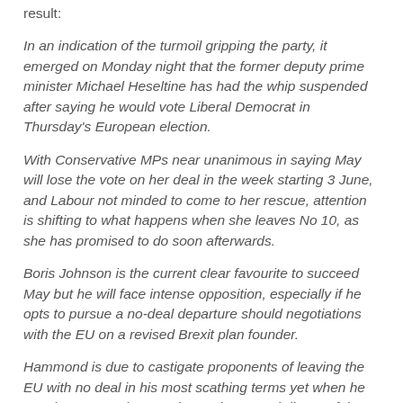result:
In an indication of the turmoil gripping the party, it emerged on Monday night that the former deputy prime minister Michael Heseltine has had the whip suspended after saying he would vote Liberal Democrat in Thursday's European election.
With Conservative MPs near unanimous in saying May will lose the vote on her deal in the week starting 3 June, and Labour not minded to come to her rescue, attention is shifting to what happens when she leaves No 10, as she has promised to do soon afterwards.
Boris Johnson is the current clear favourite to succeed May but he will face intense opposition, especially if he opts to pursue a no-deal departure should negotiations with the EU on a revised Brexit plan founder.
Hammond is due to castigate proponents of leaving the EU with no deal in his most scathing terms yet when he speaks on Tuesday evening to the annual dinner of the CBI, which